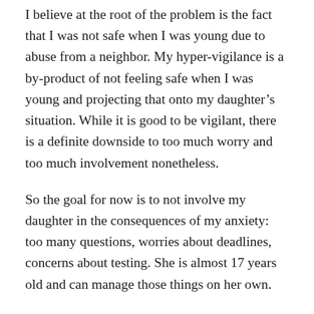I believe at the root of the problem is the fact that I was not safe when I was young due to abuse from a neighbor. My hyper-vigilance is a by-product of not feeling safe when I was young and projecting that onto my daughter's situation. While it is good to be vigilant, there is a definite downside to too much worry and too much involvement nonetheless.
So the goal for now is to not involve my daughter in the consequences of my anxiety: too many questions, worries about deadlines, concerns about testing. She is almost 17 years old and can manage those things on her own.
Going forward, I just need to check-in with her once a day and see if there is anything I can help with. That's